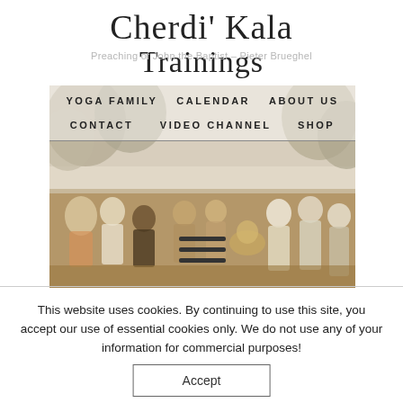Cherdi' Kala Trainings
Preaching of John the Baptist – Pieter Brueghel
[Figure (photo): Painting depicting a large crowd scene, 'Preaching of John the Baptist' by Pieter Brueghel, with navigation menu overlay showing: YOGA FAMILY, CALENDAR, ABOUT US, CONTACT, VIDEO CHANNEL, SHOP, and a hamburger menu icon]
This website uses cookies. By continuing to use this site, you accept our use of essential cookies only. We do not use any of your information for commercial purposes!
Accept